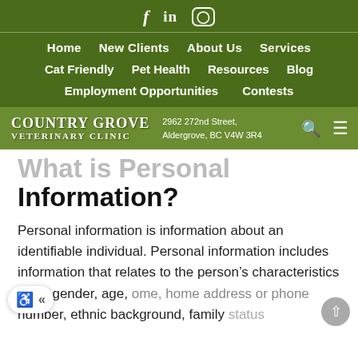f  in  [instagram]
Home  New Clients  About Us  Services  Cat Friendly  Pet Health  Resources  Blog  Employment Opportunities  Contests
Country Grove Veterinary Clinic | 2962 272nd Street, Aldergrove, BC V4W 3R4
What is Personal Information?
Personal information is information about an identifiable individual. Personal information includes information that relates to the person's characteristics (e.g., gender, age, home, home address or phone number, ethnic background, family status), health (and health hist...